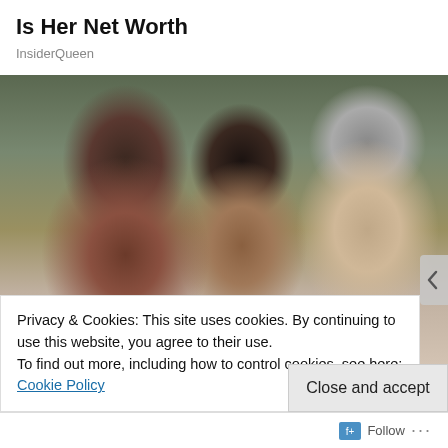Is Her Net Worth
InsiderQueen
[Figure (photo): Family photo of three people — a woman with glasses (left), a young woman (center), and a man with gray hair (right) — smiling outdoors among trees.]
Privacy & Cookies: This site uses cookies. By continuing to use this website, you agree to their use.
To find out more, including how to control cookies, see here: Cookie Policy
Close and accept
Follow